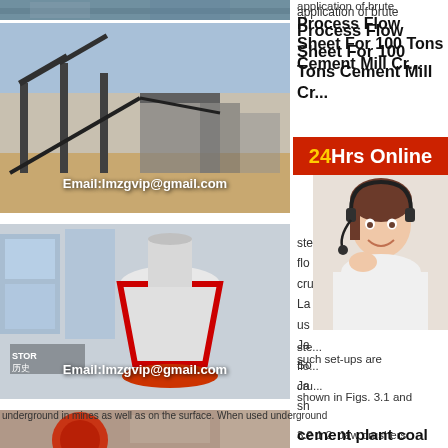[Figure (photo): Top sliver of an industrial/mining image, partial view]
[Figure (photo): Large outdoor mining/crushing plant with conveyors and machinery, with email watermark: Email:lmzgvip@gmail.com]
[Figure (photo): Indoor industrial machine (cone crusher) with red/black markings and a sign reading 'STOR 历史'. Email watermark: Email:lmzgvip@gmail.com]
[Figure (photo): Partial view of another industrial machine at the bottom, red wheel visible]
application of brute
Process Flow Sheet For 100 Tons Cement Mill Cr...
[Figure (infographic): 24Hrs Online red banner with yellow '24' and white 'Hrs Online']
[Figure (photo): Customer service representative with headset, smiling]
ste... flo... cru...
La... us... Ja... So... Ja... sh...
[Figure (infographic): Need questions & suggestion? Chat Now button (dark gray box with red button)]
such set-ups are shown in Figs. 3.1 and 3.2 1 2. Jaw crushers are installed
underground in mines as well as on the surface. When used underground
cement plant coal mill grinding flow